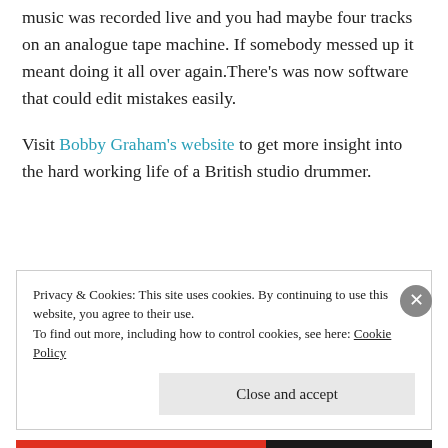music was recorded live and you had maybe four tracks on an analogue tape machine. If somebody messed up it meant doing it all over again.There's was now software that could edit mistakes easily.
Visit Bobby Graham's website to get more insight into the hard working life of a British studio drummer.
Privacy & Cookies: This site uses cookies. By continuing to use this website, you agree to their use.
To find out more, including how to control cookies, see here: Cookie Policy
Close and accept